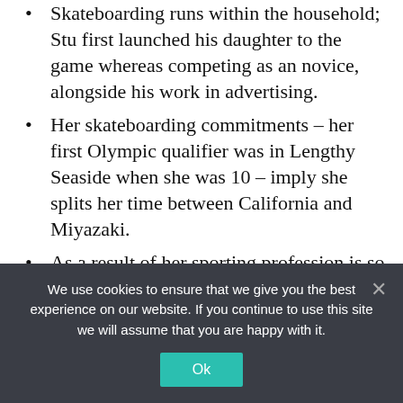Skateboarding runs within the household; Stu first launched his daughter to the game whereas competing as an novice, alongside his work in advertising.
Her skateboarding commitments – her first Olympic qualifier was in Lengthy Seaside when she was 10 – imply she splits her time between California and Miyazaki.
As a result of her sporting profession is so hectic and requires a lot journey, Sky solely attends faculty – in Orange County – twice every week and tops up her studying on-line.
Sky additionally loves dancing and singing
We use cookies to ensure that we give you the best experience on our website. If you continue to use this site we will assume that you are happy with it.